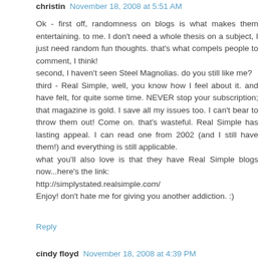christin November 18, 2008 at 5:51 AM
Ok - first off, randomness on blogs is what makes them entertaining. to me. I don't need a whole thesis on a subject, I just need random fun thoughts. that's what compels people to comment, I think!
second, I haven't seen Steel Magnolias. do you still like me?
third - Real Simple, well, you know how I feel about it. and have felt, for quite some time. NEVER stop your subscription; that magazine is gold. I save all my issues too. I can't bear to throw them out! Come on. that's wasteful. Real Simple has lasting appeal. I can read one from 2002 (and I still have them!) and everything is still applicable.
what you'll also love is that they have Real Simple blogs now...here's the link:
http://simplystated.realsimple.com/
Enjoy! don't hate me for giving you another addiction. :)
Reply
cindy floyd November 18, 2008 at 4:39 PM